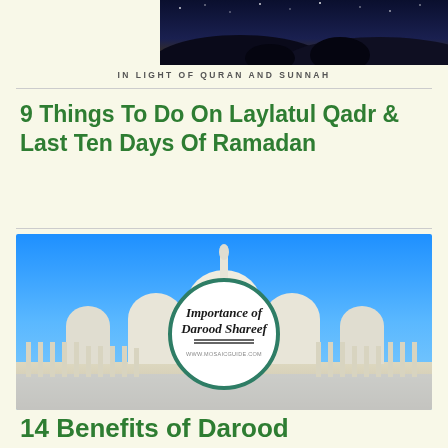[Figure (photo): Nighttime silhouette of mountains or landscape against dark blue starry sky with mosque visible]
IN LIGHT OF QURAN AND SUNNAH
9 Things To Do On Laylatul Qadr & Last Ten Days Of Ramadan
[Figure (photo): Sheikh Zayed Grand Mosque with white domes and minarets under blue sky, with a circular badge overlay reading 'Importance of Darood Shareef' with a website URL]
14 Benefits of Darood